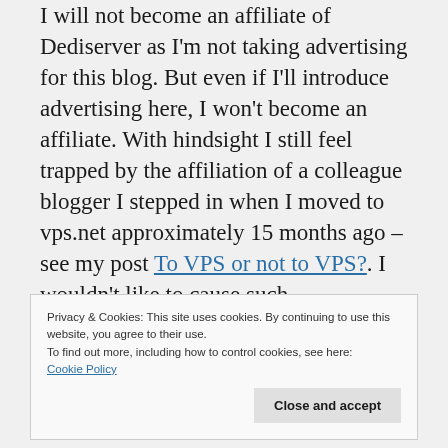I will not become an affiliate of Dediserver as I'm not taking advertising for this blog. But even if I'll introduce advertising here, I won't become an affiliate. With hindsight I still feel trapped by the affiliation of a colleague blogger I stepped in when I moved to vps.net approximately 15 months ago – see my post To VPS or not to VPS?. I wouldn't like to cause such disappointment as I've felt to any of my readers.
Privacy & Cookies: This site uses cookies. By continuing to use this website, you agree to their use.
To find out more, including how to control cookies, see here: Cookie Policy